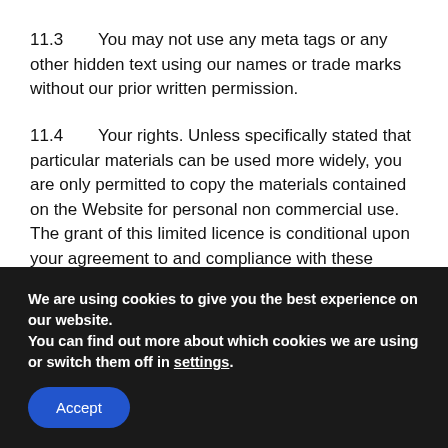11.3    You may not use any meta tags or any other hidden text using our names or trade marks without our prior written permission.
11.4    Your rights. Unless specifically stated that particular materials can be used more widely, you are only permitted to copy the materials contained on the Website for personal non commercial use. The grant of this limited licence is conditional upon your agreement to and compliance with these Terms of Use. Any other use of any of the materials on this Website including, modification, distribution,
We are using cookies to give you the best experience on our website.
You can find out more about which cookies we are using or switch them off in settings.
Accept